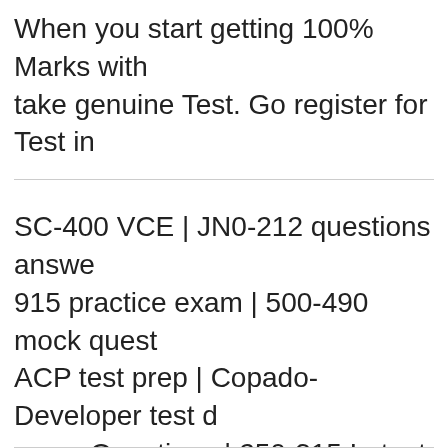When you start getting 100% Marks with take genuine Test. Go register for Test in
SC-400 VCE | JN0-212 questions answers | 915 practice exam | 500-490 mock questions | ACP test prep | Copado-Developer test d exam Questions | 250-315 Latest Questions | questions | 350-601 exam Questions | NS Mathematics-Knowledge VCE exam | 1Z pdf get |